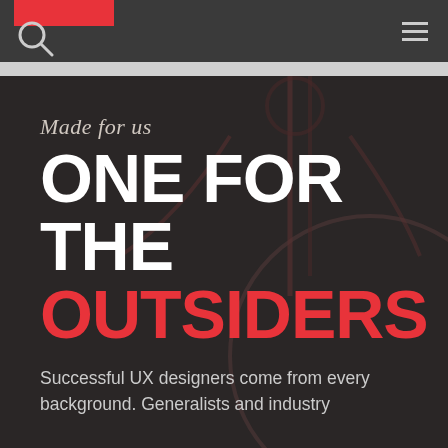Navigation bar with logo and hamburger menu
Made for us
ONE FOR THE OUTSIDERS
Successful UX designers come from every background. Generalists and industry